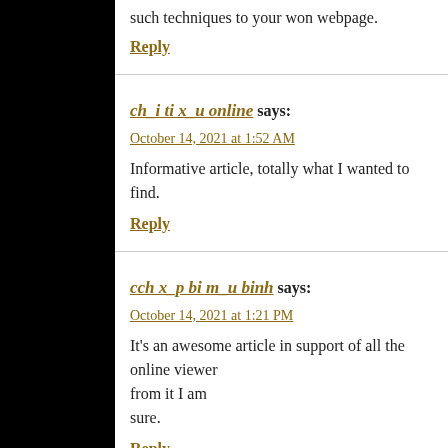such techniques to your won webpage.
Reply
ch_i ti x_u online says:
October 14, 2021 at 1:52 AM
Informative article, totally what I wanted to find.
Reply
cch x_p bi m_u binh says:
October 14, 2021 at 1:21 PM
It's an awesome article in support of all the online viewers from it I am sure.
Reply